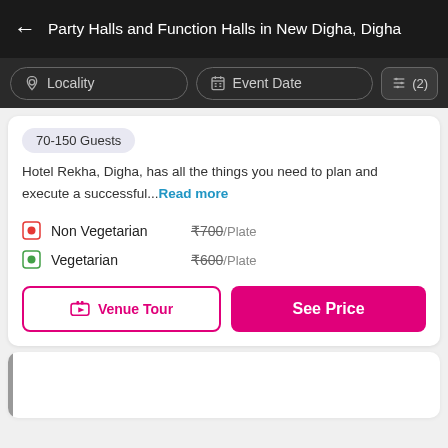Party Halls and Function Halls in New Digha, Digha
Locality   Event Date   (2)
70-150 Guests
Hotel Rekha, Digha, has all the things you need to plan and execute a successful... Read more
Non Vegetarian  ₹700/Plate
Vegetarian  ₹600/Plate
Venue Tour   See Price